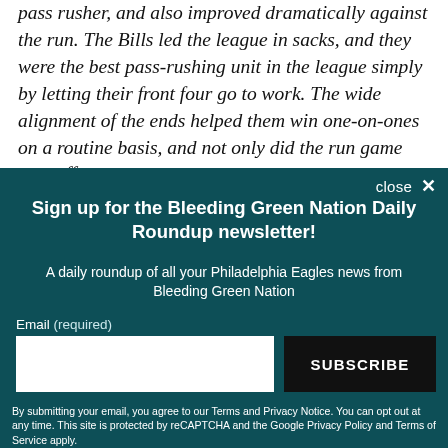pass rusher, and also improved dramatically against the run. The Bills led the league in sacks, and they were the best pass-rushing unit in the league simply by letting their front four go to work. The wide alignment of the ends helped them win one-on-ones on a routine basis, and not only did the run game not suffer
close ×
Sign up for the Bleeding Green Nation Daily Roundup newsletter!
A daily roundup of all your Philadelphia Eagles news from Bleeding Green Nation
Email (required)
SUBSCRIBE
By submitting your email, you agree to our Terms and Privacy Notice. You can opt out at any time. This site is protected by reCAPTCHA and the Google Privacy Policy and Terms of Service apply.